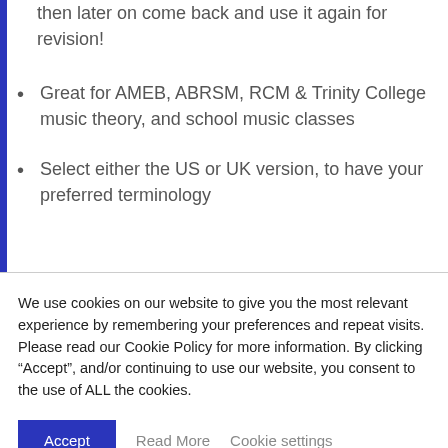then later on come back and use it again for revision!
Great for AMEB, ABRSM, RCM & Trinity College music theory, and school music classes
Select either the US or UK version, to have your preferred terminology
We use cookies on our website to give you the most relevant experience by remembering your preferences and repeat visits. Please read our Cookie Policy for more information. By clicking “Accept”, and/or continuing to use our website, you consent to the use of ALL the cookies.